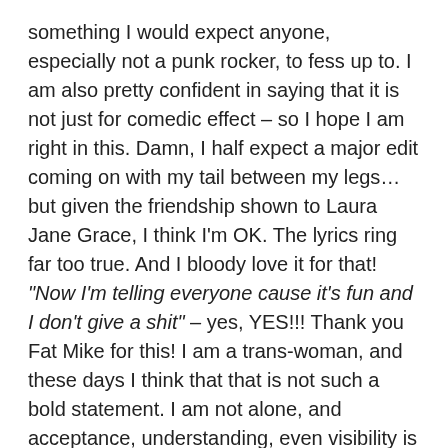something I would expect anyone, especially not a punk rocker, to fess up to. I am also pretty confident in saying that it is not just for comedic effect – so I hope I am right in this. Damn, I half expect a major edit coming on with my tail between my legs… but given the friendship shown to Laura Jane Grace, I think I'm OK. The lyrics ring far too true. And I bloody love it for that!
"Now I'm telling everyone cause it's fun and I don't give a shit" – yes, YES!!! Thank you Fat Mike for this! I am a trans-woman, and these days I think that that is not such a bold statement. I am not alone, and acceptance, understanding, even visibility is high. But cross dressing is still one of those things that is seen as weird: deviant. Gender is becoming more fluid by the day. I would say that the boundaries of